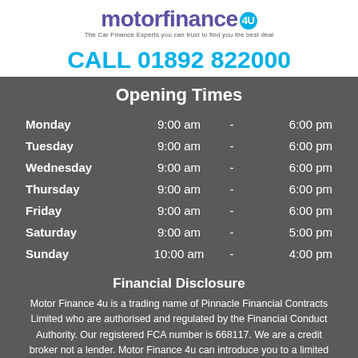[Figure (logo): Motor Finance 4U logo with circular badge and tagline]
CALL 01892 822000
Opening Times
| Day | Open |  | Close |
| --- | --- | --- | --- |
| Monday | 9:00 am | - | 6:00 pm |
| Tuesday | 9:00 am | - | 6:00 pm |
| Wednesday | 9:00 am | - | 6:00 pm |
| Thursday | 9:00 am | - | 6:00 pm |
| Friday | 9:00 am | - | 6:00 pm |
| Saturday | 9:00 am | - | 5:00 pm |
| Sunday | 10:00 am | - | 4:00 pm |
Financial Disclosure
Motor Finance 4u is a trading name of Pinnacle Financial Contracts Limited who are authorised and regulated by the Financial Conduct Authority. Our registered FCA number is 668117. We are a credit broker not a lender. Motor Finance 4u can introduce you to a limited number